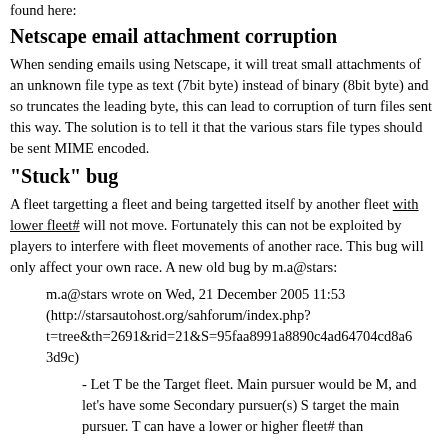found here:
Netscape email attachment corruption
When sending emails using Netscape, it will treat small attachments of an unknown file type as text (7bit byte) instead of binary (8bit byte) and so truncates the leading byte, this can lead to corruption of turn files sent this way. The solution is to tell it that the various stars file types should be sent MIME encoded.
"Stuck" bug
A fleet targetting a fleet and being targetted itself by another fleet with lower fleet# will not move. Fortunately this can not be exploited by players to interfere with fleet movements of another race. This bug will only affect your own race. A new old bug by m.a@stars:
m.a@stars wrote on Wed, 21 December 2005 11:53 (http://starsautohost.org/sahforum/index.php?t=tree&th=2691&rid=21&S=95faa8991a8890c4ad64704cd8a63d9c)
- Let T be the Target fleet. Main pursuer would be M, and let's have some Secondary pursuer(s) S target the main pursuer. T can have a lower or higher fleet# than